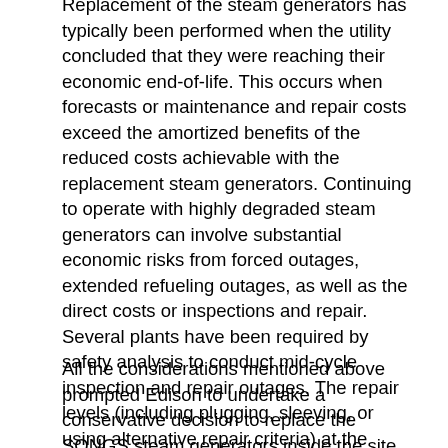Replacement of the steam generators has typically been performed when the utility concluded that they were reaching their economic end-of-life. This occurs when forecasts or maintenance and repair costs exceed the amortized benefits of the reduced costs achievable with the replacement steam generators. Continuing to operate with highly degraded steam generators can involve substantial economic risks from forced outages, extended refueling outages, as well as the direct costs or inspections and repair. Several plants have been required by safety analysis to conduct mid-cycle inspection and repair outages. The repair levels (including plugging, sleeving, or using alternative repair criteria) at the replacement plants averaged 25%. Edison has set a 21.4% plugging level as the technical end-or-life of the SONGS steam generators. Forecasting when this would occur resulted in a range of years depending on the level of confidence in the projection. The SONGS worst case forecast indicated that the 21.4% plugging level could be reached as early as 2012.
All the considerations mentioned above prompted Edison to undertake a conservative decision to replace the SONGS steam generators inside the site during their inspection cycle 16...